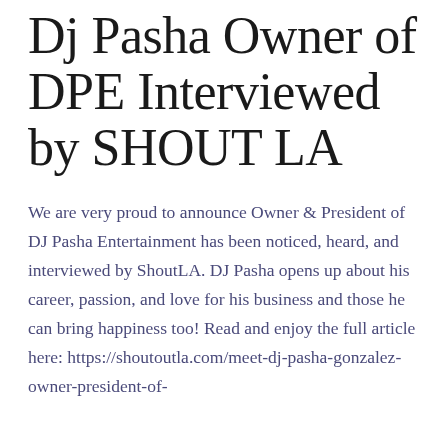Dj Pasha Owner of DPE Interviewed by SHOUT LA
We are very proud to announce Owner & President of DJ Pasha Entertainment has been noticed, heard, and interviewed by ShoutLA. DJ Pasha opens up about his career, passion, and love for his business and those he can bring happiness too! Read and enjoy the full article here: https://shoutoutla.com/meet-dj-pasha-gonzalez-owner-president-of-